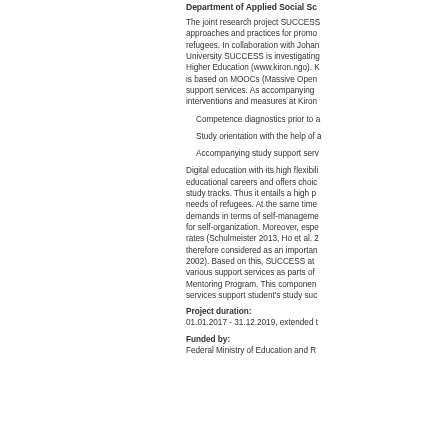Department of Applied Social Sc...
The joint research project SUCCESS approaches and practices for promo... refugees. In collaboration with Johan... University SUCCESS is investigating... Higher Education (www.kiron.ngo). K... is based on MOOCs (Massive Open... support services. As accompanying... interventions and measures at Kiron...
Competence diagnostics prior to a...
Study orientation with the help of a...
Accompanying study support serv...
Digital education with its high flexibili... educational careers and offers choic... study tracks. Thus it entails a high p... needs of refugees. At the same time... demands in terms of self-manageme... for self-organization. Moreover, espe... rates (Schulmeister 2013, Ho et al. 2... therefore considered as an importan... 2002). Based on this, SUCCESS at... various support services as parts of... Mentoring Program. This componen... services support student's study suc...
Project duration:
01.01.2017 - 31.12.2019, extended t...
Funded by:
Federal Ministry of Education and R...